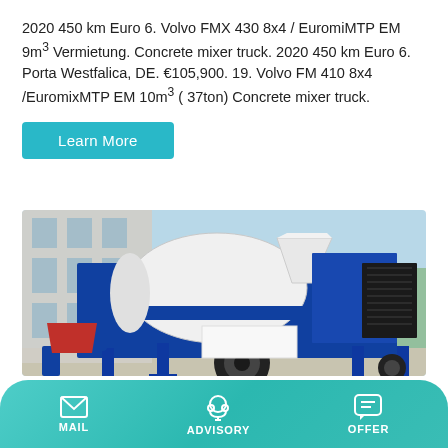2020 450 km Euro 6. Volvo FMX 430 8x4 / EuromiMTP EM 9m³ Vermietung. Concrete mixer truck. 2020 450 km Euro 6. Porta Westfalica, DE. €105,900. 19. Volvo FM 410 8x4 /EuromixMTP EM 10m³ ( 37ton) Concrete mixer truck.
[Figure (other): Learn More button — teal/cyan rectangular button with white text]
[Figure (photo): Photo of a blue and white concrete mixer truck / pump unit parked in an industrial yard with a building visible in the background]
MAIL   ADVISORY   OFFER